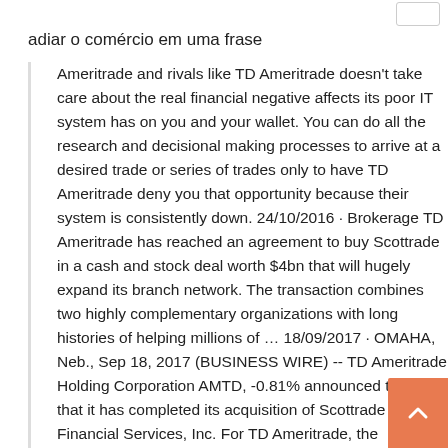adiar o comércio em uma frase
Ameritrade and rivals like TD Ameritrade doesn't take care about the real financial negative affects its poor IT system has on you and your wallet. You can do all the research and decisional making processes to arrive at a desired trade or series of trades only to have TD Ameritrade deny you that opportunity because their system is consistently down. 24/10/2016 · Brokerage TD Ameritrade has reached an agreement to buy Scottrade in a cash and stock deal worth $4bn that will hugely expand its branch network. The transaction combines two highly complementary organizations with long histories of helping millions of … 18/09/2017 · OMAHA, Neb., Sep 18, 2017 (BUSINESS WIRE) -- TD Ameritrade Holding Corporation AMTD, -0.81% announced today that it has completed its acquisition of Scottrade Financial Services, Inc. For TD Ameritrade, the transaction adds significant scale and distribution capabilities for its investing services TD Ameritrade, Inc., member FINRA/SIPC, and TD Ameritrade Clearing, Inc., member FINRA/SIPC, are subsidiaries of TD Ameritrade Holding